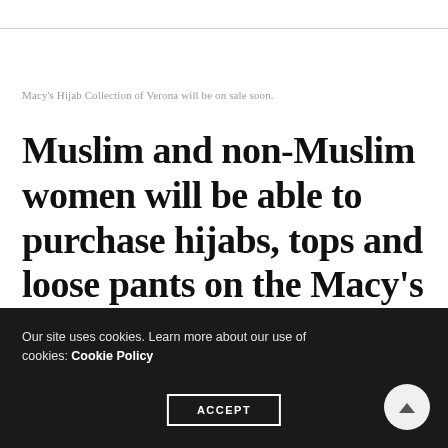Macy's Hijab Collection of Verona will be on sale soon.
Muslim and non-Muslim women will be able to purchase hijabs, tops and loose pants on the Macy's website.
Source: HuffPost · Reuters
Our site uses cookies. Learn more about our use of cookies: Cookie Policy